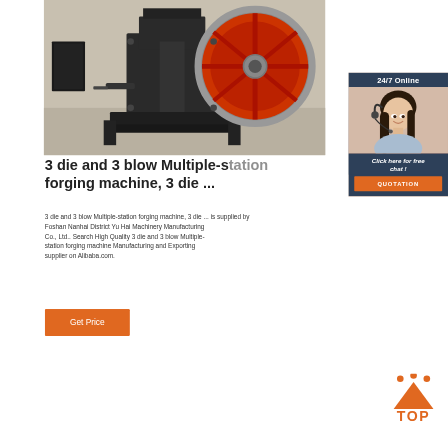[Figure (photo): Industrial forging machine with large red flywheel on factory floor]
[Figure (photo): 24/7 Online support agent with headset, smiling, with Click here for free chat and QUOTATION button overlay]
3 die and 3 blow Multiple-station forging machine, 3 die ...
3 die and 3 blow Multiple-station forging machine, 3 die ... is supplied by Foshan Nanhai District Yu Hai Machinery Manufacturing Co., Ltd.. Search High Quality 3 die and 3 blow Multiple-station forging machine Manufacturing and Exporting supplier on Alibaba.com.
[Figure (logo): TOP badge with orange triangle and dots]
Get Price